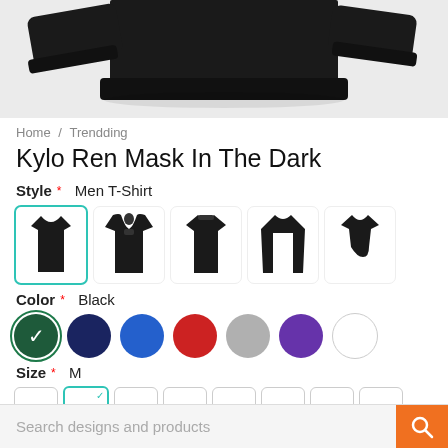[Figure (photo): Black sweatshirt/hoodie product photo on light gray background, showing the bottom hem and sleeves from above]
Home / Trendding
Kylo Ren Mask In The Dark
Style* Men T-Shirt
[Figure (illustration): Five clothing style icons in black: t-shirt (selected with teal border), hoodie, crewneck sweatshirt, long sleeve shirt, women's t-shirt]
Color* Black
[Figure (illustration): Seven color swatches as circles: dark green/black (selected with checkmark), navy, blue, red, gray, purple, white]
Size* M
[Figure (illustration): Size selector buttons: S, M (selected with teal border and checkmark), L, XL, 2XL, 3XL, 4XL, 5XL]
Search designs and products